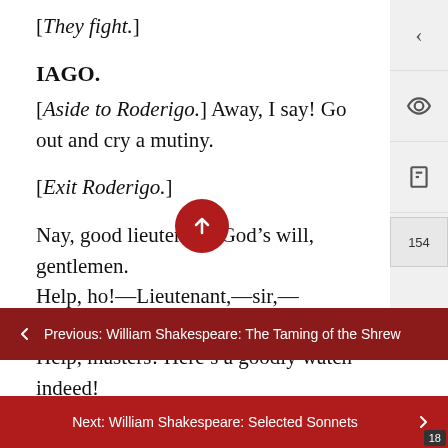[They fight.]
IAGO.
[Aside to Roderigo.] Away, I say! Go out and cry a mutiny.
[Exit Roderigo.]
Nay, good lieutenant, God’s will, gentlemen. Help, ho!—Lieutenant,—sir,—Montano,—sir:—Help, masters! Here’s a goodly watch indeed!
[A bell rings.]
Who’s that which rings th—?—Diablo, ho! The town will rise. God’s will, lieutenant, hold.
Previous: William Shakespeare: The Taming of the Shrew
Next: William Shakespeare: Selected Sonnets